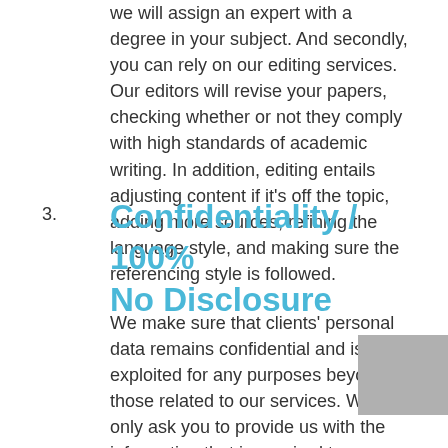we will assign an expert with a degree in your subject. And secondly, you can rely on our editing services. Our editors will revise your papers, checking whether or not they comply with high standards of academic writing. In addition, editing entails adjusting content if it's off the topic, adding more sources, refining the language style, and making sure the referencing style is followed.
3. Confidentiality / 100% No Disclosure
We make sure that clients' personal data remains confidential and is not exploited for any purposes beyond those related to our services. We only ask you to provide us with the information that is required to produce the paper according to your writing needs. Please note that the payment info is protected as well. Feel free to refer to the support team for more information about